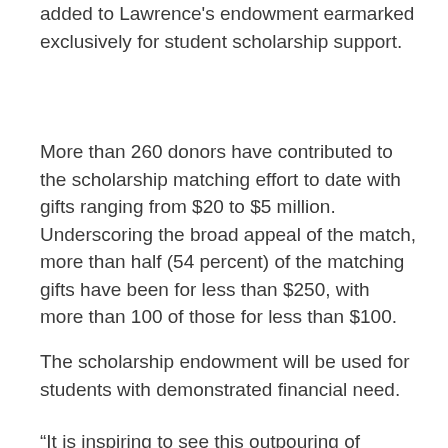added to Lawrence's endowment earmarked exclusively for student scholarship support.
More than 260 donors have contributed to the scholarship matching effort to date with gifts ranging from $20 to $5 million. Underscoring the broad appeal of the match, more than half (54 percent) of the matching gifts have been for less than $250, with more than 100 of those for less than $100.
The scholarship endowment will be used for students with demonstrated financial need.
“It is inspiring to see this outpouring of generosity